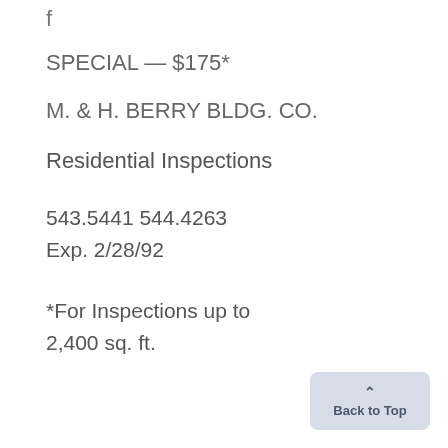f
SPECIAL — $175*
M. & H. BERRY BLDG. CO.
Residential Inspections
543.5441 544.4263
Exp. 2/28/92
*For Inspections up to 2,400 sq. ft.